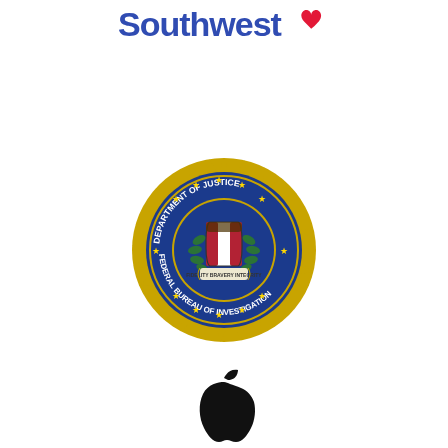[Figure (logo): Southwest Airlines logo — bold blue stylized text 'Southwest' with a red heart icon on the right side]
[Figure (logo): FBI seal — circular badge with gold sunburst outer ring, blue ring with text 'DEPARTMENT OF JUSTICE' (top) and 'FEDERAL BUREAU OF INVESTIGATION' (bottom), gold stars on inner blue ring, central shield with red and white vertical stripes flanked by green laurel branches, banner reading 'FIDELITY BRAVERY INTEGRITY']
[Figure (logo): Apple Inc. logo — solid black apple silhouette with a bite taken from the upper right and a small leaf stem on top]